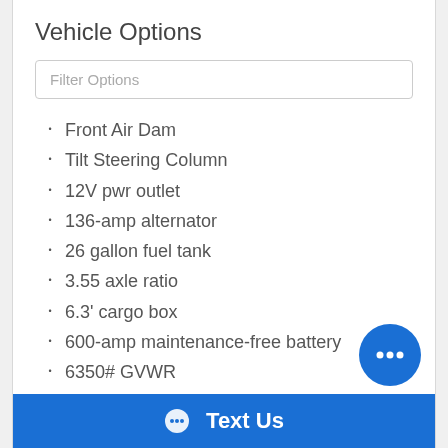Vehicle Options
Filter Options
Front Air Dam
Tilt Steering Column
12V pwr outlet
136-amp alternator
26 gallon fuel tank
3.55 axle ratio
6.3' cargo box
600-amp maintenance-free battery
6350# GVWR
8.0" front axle ring gear diameter
9.25" rear axle ring gear diameter
Body color upper front fascia
Bright front bumper
Text Us